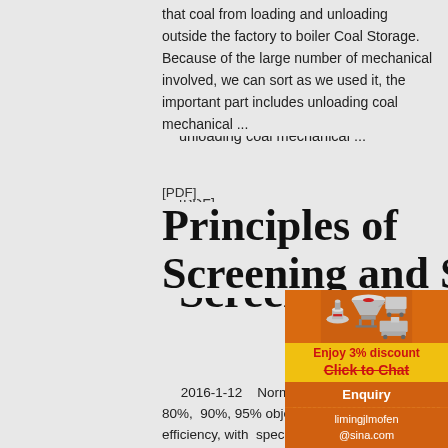that coal from loading and unloading outside the factory to boiler Coal Storage. Because of the large number of mechanical involved, we can sort as we used it, the important part includes unloading coal mechanical ...
[PDF]
Principles of Screening and Siz
2016-1-12    Normally expressed as; 80%, 90%, 95% objective screening efficiency, with specific or defined reference to the allowable percentage of oversize or undersize in the pr...
Ball Mill Ball Mill In The Philippines To 100 Tph ...
[Figure (infographic): Orange advertisement panel with industrial machinery images (cone crusher, mobile crusher, and vertical mill), a yellow discount badge reading 'Enjoy 3% discount', a 'Click to Chat' button, an 'Enquiry' section, and contact email 'limingjlmofen@sina.com']